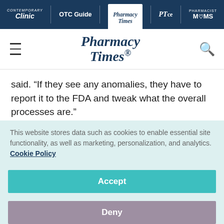Clinic | OTC Guide | Pharmacy Times | PTce | Pharmacist Moms
[Figure (logo): Pharmacy Times logo in site header with hamburger menu and search icon]
said. “If they see any anomalies, they have to report it to the FDA and tweak what the overall processes are.”
Although specialty pharmacy data are significant and provides many benefits, it is
This website stores data such as cookies to enable essential site functionality, as well as marketing, personalization, and analytics. Cookie Policy
Accept
Deny